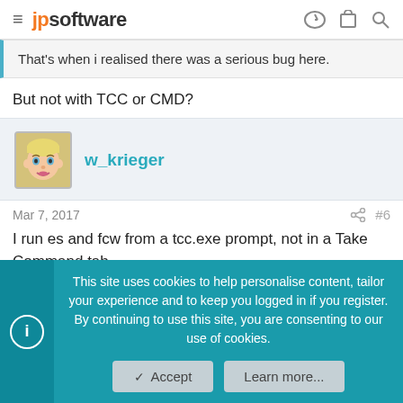jpsoftware
That's when i realised there was a serious bug here.
But not with TCC or CMD?
w_krieger
Mar 7, 2017  #6
I run es and fcw from a tcc.exe prompt, not in a Take Command tab.
This site uses cookies to help personalise content, tailor your experience and to keep you logged in if you register.
By continuing to use this site, you are consenting to our use of cookies.